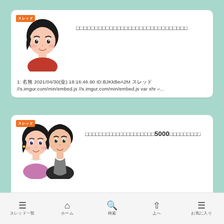[Figure (illustration): Card 1 with anime-style female character avatar, orange badge label, Japanese title text, and post metadata]
1: 名無 2021/04/30(金) 18:16:46.90 ID:BJKkBeA2M スレッド //s.imgur.com/min/embed.js //s.imgur.com/min/embed.js var xhr =...
[Figure (illustration): Card 2 with anime-style couple character avatar, orange badge label, Japanese title with 5000 in bold, and post metadata]
1: 名無 2019/06/24(月) 23:09:51.268 ID:ATrVcWqP0 このスレッドはタイトル 内容 本文 このスレッドの内容はこちら スレッドの詳細 va...
スレッド一覧　　ホーム　　検索　　上へ　　お気に入り